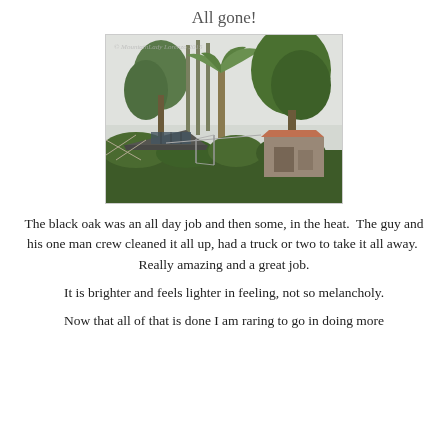All gone!
[Figure (photo): Outdoor scene showing tall tropical trees including palms and broad-leaf trees against an overcast sky, with rooftops of small structures and a clothesline visible in the foreground among green shrubs.]
The black oak was an all day job and then some, in the heat.  The guy and his one man crew cleaned it all up, had a truck or two to take it all away.  Really amazing and a great job.
It is brighter and feels lighter in feeling, not so melancholy.
Now that all of that is done I am raring to go in doing more